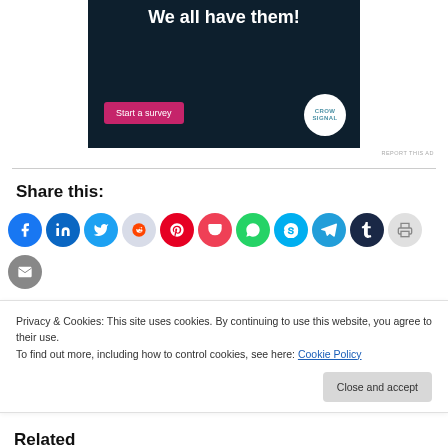[Figure (screenshot): Advertisement banner with dark navy background showing 'We all have them!' text, a pink 'Start a survey' button, and a Crowdsignal logo in a white circle.]
REPORT THIS AD
Share this:
[Figure (infographic): Row of social media sharing icon circles: Facebook, LinkedIn, Twitter, Reddit, Pinterest, Pocket, WhatsApp, Skype, Telegram, Tumblr, Print, Email]
Privacy & Cookies: This site uses cookies. By continuing to use this website, you agree to their use.
To find out more, including how to control cookies, see here: Cookie Policy
Close and accept
Related